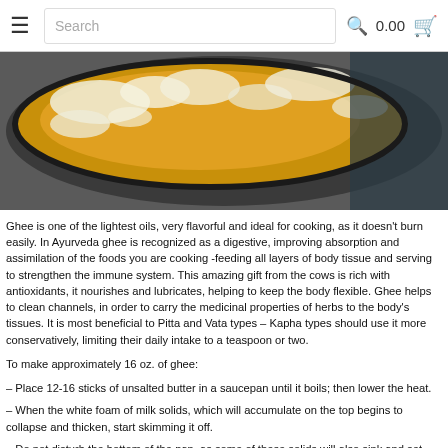≡  Search  🔍  0.00  🛒
[Figure (photo): A pot of golden ghee cooking on a stove, with white milk solid foam floating on top, viewed from above.]
Ghee is one of the lightest oils, very flavorful and ideal for cooking, as it doesn't burn easily. In Ayurveda ghee is recognized as a digestive, improving absorption and assimilation of the foods you are cooking -feeding all layers of body tissue and serving to strengthen the immune system. This amazing gift from the cows is rich with antioxidants, it nourishes and lubricates, helping to keep the body flexible. Ghee helps to clean channels, in order to carry the medicinal properties of herbs to the body's tissues. It is most beneficial to Pitta and Vata types – Kapha types should use it more conservatively, limiting their daily intake to a teaspoon or two.
To make approximately 16 oz. of ghee:
– Place 12-16 sticks of unsalted butter in a saucepan until it boils; then lower the heat.
– When the white foam of milk solids, which will accumulate on the top begins to collapse and thicken, start skimming it off.
– Do not disturb the bottom of the pan, as some of these solids will also sink and set...